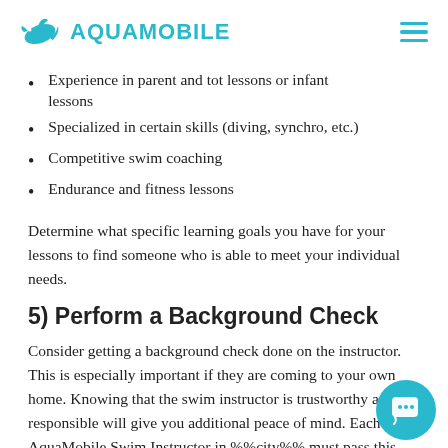AQUAMOBILE
Experience in parent and tot lessons or infant lessons
Specialized in certain skills (diving, synchro, etc.)
Competitive swim coaching
Endurance and fitness lessons
Determine what specific learning goals you have for your lessons to find someone who is able to meet your individual needs.
5) Perform a Background Check
Consider getting a background check done on the instructor. This is especially important if they are coming to your own home. Knowing that the swim instructor is trustworthy and responsible will give you additional peace of mind. Each AquaMobile Swim Instructor in %%city%% must pass this step as part of the normal